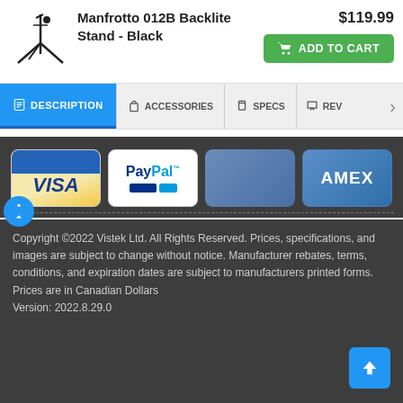[Figure (screenshot): Product image of Manfrotto 012B Backlite Stand tripod silhouette in black]
Manfrotto 012B Backlite Stand - Black
$119.99
ADD TO CART
DESCRIPTION | ACCESSORIES | SPECS | REV
[Figure (logo): Payment method logos: VISA, PayPal, MasterCard, AMEX]
Copyright ©2022 Vistek Ltd. All Rights Reserved. Prices, specifications, and images are subject to change without notice. Manufacturer rebates, terms, conditions, and expiration dates are subject to manufacturers printed forms. Prices are in Canadian Dollars
Version: 2022.8.29.0